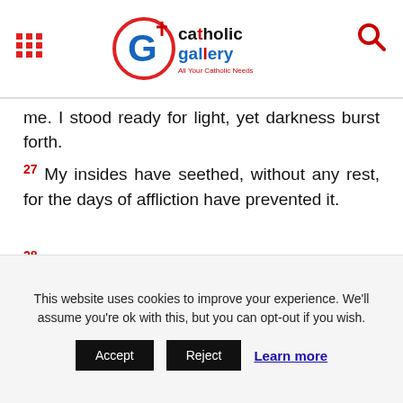Catholic Gallery header with logo, grid menu icon, and search icon
me. I stood ready for light, yet darkness burst forth.
27 My insides have seethed, without any rest, for the days of affliction have prevented it.
28 I went forth mourning, without anger, and rising up, I cried out in confusion.
29 I was the brother of snakes, and the companion of ostriches.
This website uses cookies to improve your experience. We'll assume you're ok with this, but you can opt-out if you wish. Accept Reject Learn more